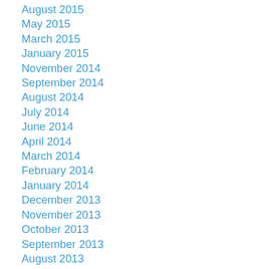August 2015
May 2015
March 2015
January 2015
November 2014
September 2014
August 2014
July 2014
June 2014
April 2014
March 2014
February 2014
January 2014
December 2013
November 2013
October 2013
September 2013
August 2013
July 2013
June 2013